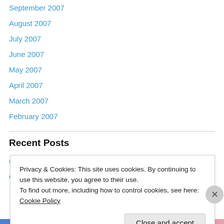September 2007
August 2007
July 2007
June 2007
May 2007
April 2007
March 2007
February 2007
Recent Posts
God Speed Chris
Guess what's coming
Privacy & Cookies: This site uses cookies. By continuing to use this website, you agree to their use.
To find out more, including how to control cookies, see here: Cookie Policy
Close and accept